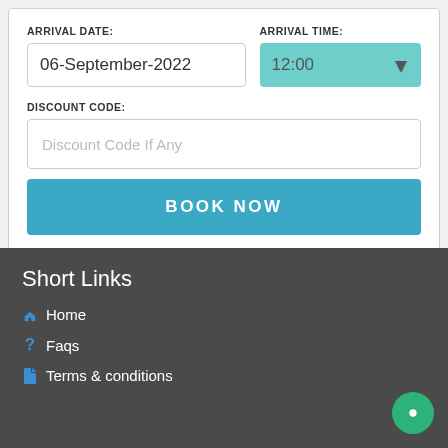ARRIVAL DATE:
06-September-2022
ARRIVAL TIME:
12:00
DISCOUNT CODE:
Discount Code If Any
BOOK NOW
Short Links
Home
Faqs
Terms & conditions